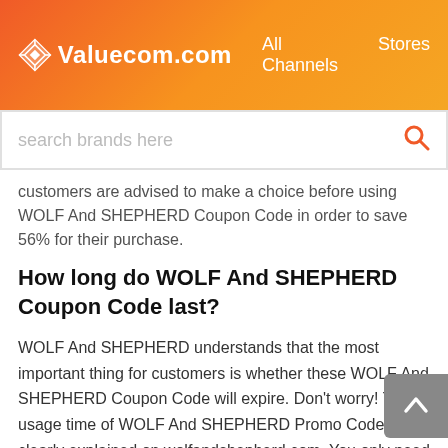Valuecom.com  All Channels  Stores
search brands here
customers are advised to make a choice before using WOLF And SHEPHERD Coupon Code in order to save 56% for their purchase.
How long do WOLF And SHEPHERD Coupon Code last?
WOLF And SHEPHERD understands that the most important thing for customers is whether these WOLF And SHEPHERD Coupon Code will expire. Don't worry! The usage time of WOLF And SHEPHERD Promo Code is clearly explained on wolfandshepherd.com. You only need to choose the items you like and use WOLF And SHEPHERD Discount Code within the validity period, you can save you a lot of money.